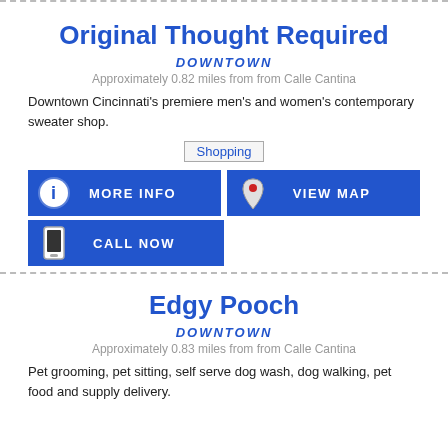Original Thought Required
DOWNTOWN
Approximately 0.82 miles from from Calle Cantina
Downtown Cincinnati's premiere men's and women's contemporary sweater shop.
Shopping
MORE INFO
VIEW MAP
CALL NOW
Edgy Pooch
DOWNTOWN
Approximately 0.83 miles from from Calle Cantina
Pet grooming, pet sitting, self serve dog wash, dog walking, pet food and supply delivery.